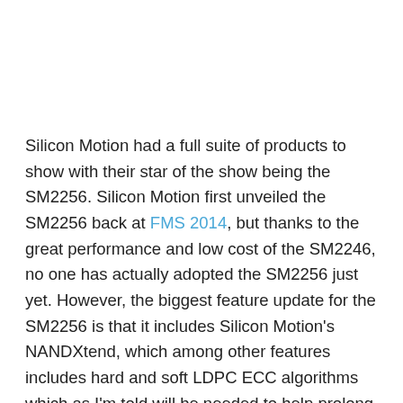Silicon Motion had a full suite of products to show with their star of the show being the SM2256. Silicon Motion first unveiled the SM2256 back at FMS 2014, but thanks to the great performance and low cost of the SM2246, no one has actually adopted the SM2256 just yet. However, the biggest feature update for the SM2256 is that it includes Silicon Motion's NANDXtend, which among other features includes hard and soft LDPC ECC algorithms which as I'm told will be needed to help prolong the usable life of the upcoming TLC NAND.